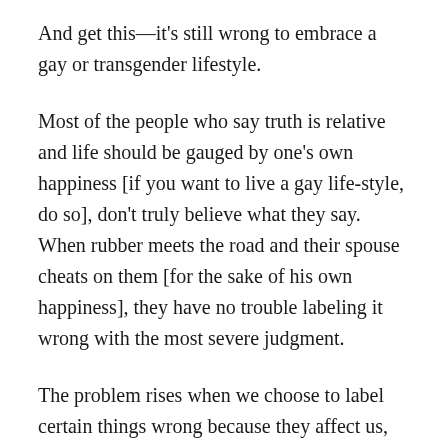And get this—it's still wrong to embrace a gay or transgender lifestyle.
Most of the people who say truth is relative and life should be gauged by one's own happiness [if you want to live a gay life-style, do so], don't truly believe what they say. When rubber meets the road and their spouse cheats on them [for the sake of his own happiness], they have no trouble labeling it wrong with the most severe judgment.
The problem rises when we choose to label certain things wrong because they affect us, but claim truth is relative for everyone else's affairs.